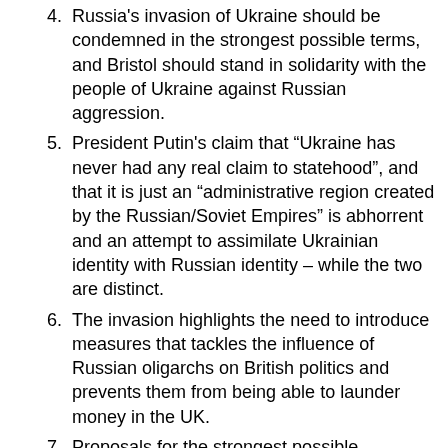Russia's invasion of Ukraine should be condemned in the strongest possible terms, and Bristol should stand in solidarity with the people of Ukraine against Russian aggression.
President Putin's claim that “Ukraine has never had any real claim to statehood”, and that it is just an “administrative region created by the Russian/Soviet Empires” is abhorrent and an attempt to assimilate Ukrainian identity with Russian identity – while the two are distinct.
The invasion highlights the need to introduce measures that tackles the influence of Russian oligarchs on British politics and prevents them from being able to launder money in the UK.
Proposals for the strongest possible sanctions imposed by the UK, the EU, and its allies, such as removing Russia from the SWIFT financial system are necessary.
This conflict has already displaced over a half million Ukrainians, and as a City of Sanctuary, Bristol has a duty to accept as many refugees as possible – Ukrainian or otherwise. The Government’s Nationality and Borders Bill would